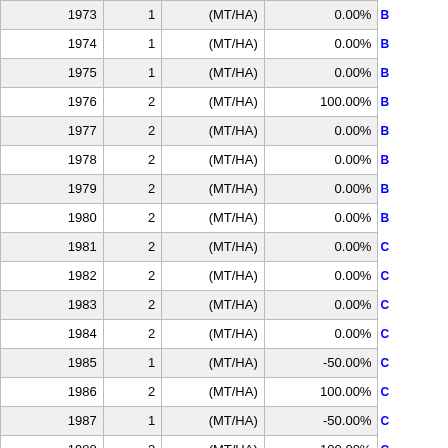| Year | Num | Unit | Pct | Code |
| --- | --- | --- | --- | --- |
| 1973 | 1 | (MT/HA) | 0.00% | B |
| 1974 | 1 | (MT/HA) | 0.00% | B |
| 1975 | 1 | (MT/HA) | 0.00% | B |
| 1976 | 2 | (MT/HA) | 100.00% | B |
| 1977 | 2 | (MT/HA) | 0.00% | B |
| 1978 | 2 | (MT/HA) | 0.00% | B |
| 1979 | 2 | (MT/HA) | 0.00% | B |
| 1980 | 2 | (MT/HA) | 0.00% | B |
| 1981 | 2 | (MT/HA) | 0.00% | C |
| 1982 | 2 | (MT/HA) | 0.00% | C |
| 1983 | 2 | (MT/HA) | 0.00% | C |
| 1984 | 2 | (MT/HA) | 0.00% | C |
| 1985 | 1 | (MT/HA) | -50.00% | C |
| 1986 | 2 | (MT/HA) | 100.00% | C |
| 1987 | 1 | (MT/HA) | -50.00% | C |
| 1988 | 2 | (MT/HA) | 100.00% | C |
| 1989 | 1 | (MT/HA) | -50.00% | C |
| 1990 | 2 | (MT/HA) | 100.00% | C |
| 1991 | 2 | (MT/HA) | 0.00% | C |